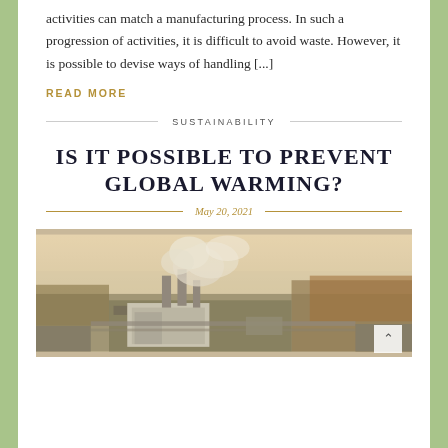activities can match a manufacturing process. In such a progression of activities, it is difficult to avoid waste. However, it is possible to devise ways of handling [...]
READ MORE
SUSTAINABILITY
IS IT POSSIBLE TO PREVENT GLOBAL WARMING?
May 20, 2021
[Figure (photo): Aerial photograph of an industrial facility with smoke or steam rising from stacks, surrounded by urban landscape with trees in autumn colors and hazy sky.]